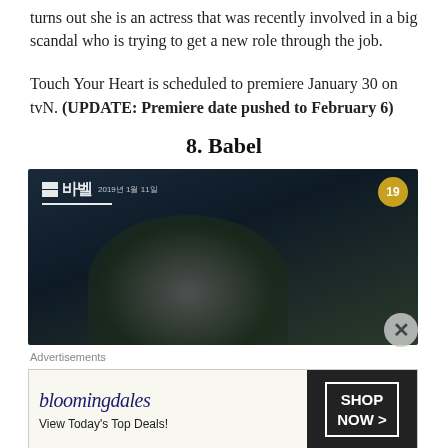turns out she is an actress that was recently involved in a big scandal who is trying to get a new role through the job.
Touch Your Heart is scheduled to premiere January 30 on tvN. (UPDATE: Premiere date pushed to February 6)
8. Babel
[Figure (photo): A dark promotional still image for the Korean drama 'Babel' showing a young man's face in dim lighting, with a broadcaster logo and '19' rating badge in the upper corners.]
Advertisements
[Figure (other): Bloomingdale's advertisement with text 'View Today's Top Deals!' and 'SHOP NOW >' button, featuring a woman in a large hat.]